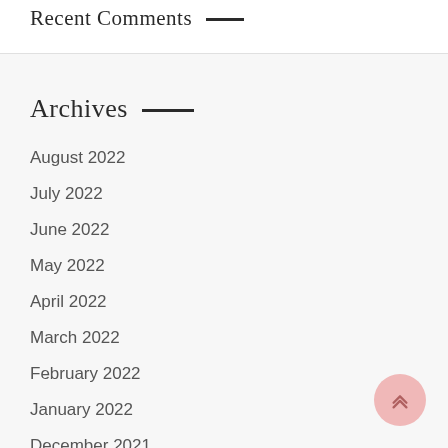Recent Comments
Archives
August 2022
July 2022
June 2022
May 2022
April 2022
March 2022
February 2022
January 2022
December 2021